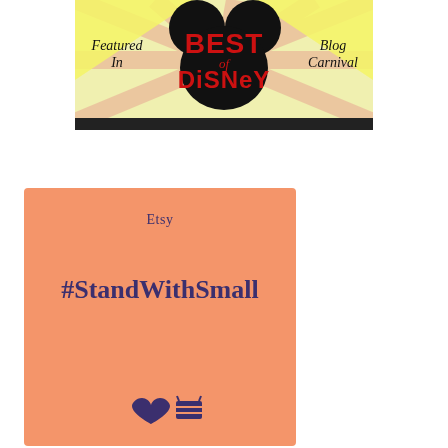[Figure (illustration): Best of Disney Blog Carnival banner with Mickey Mouse ears silhouette, text 'Featured In Best of Disney Blog Carnival' on yellow and pink starburst background]
[Figure (infographic): Etsy #StandWithSmall orange promotional card with heart and basket icons]